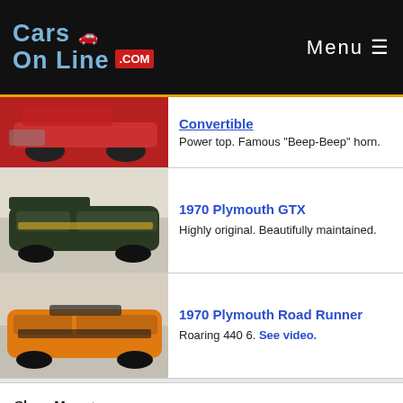CarsOnLine.com — Menu
Convertible
Power top. Famous "Beep-Beep" horn.
1970 Plymouth GTX
Highly original. Beautifully maintained.
1970 Plymouth Road Runner
Roaring 440 6. See video.
Show More ▶
Chevy Muscle Cars